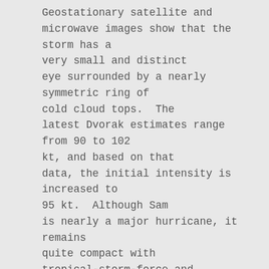Geostationary satellite and microwave images show that the storm has a very small and distinct eye surrounded by a nearly symmetric ring of cold cloud tops.  The latest Dvorak estimates range from 90 to 102 kt, and based on that data, the initial intensity is increased to 95 kt.  Although Sam is nearly a major hurricane, it remains quite compact with tropical-storm-force and hurricane-force winds estimated to only extend 50 n mi and 15 n mi from the center, respectively.

The hurricane is moving west-northwestward at 11 kt and is currently being steered by a mid-level ridge to its north. There has been